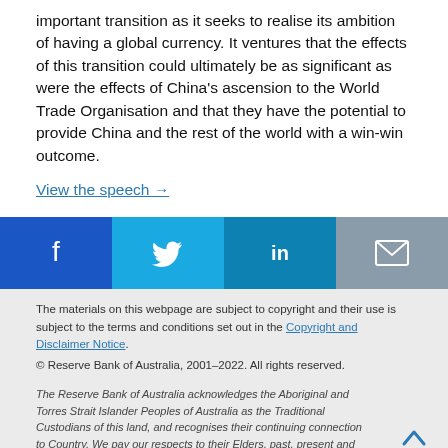important transition as it seeks to realise its ambition of having a global currency. It ventures that the effects of this transition could ultimately be as significant as were the effects of China's ascension to the World Trade Organisation and that they have the potential to provide China and the rest of the world with a win-win outcome.
View the speech →
[Figure (infographic): Social media sharing bar with four buttons: Facebook (blue), Twitter (cyan), LinkedIn (dark blue), Email (grey)]
The materials on this webpage are subject to copyright and their use is subject to the terms and conditions set out in the Copyright and Disclaimer Notice. © Reserve Bank of Australia, 2001–2022. All rights reserved.
The Reserve Bank of Australia acknowledges the Aboriginal and Torres Strait Islander Peoples of Australia as the Traditional Custodians of this land, and recognises their continuing connection to Country. We pay our respects to their Elders, past, present and emerging.